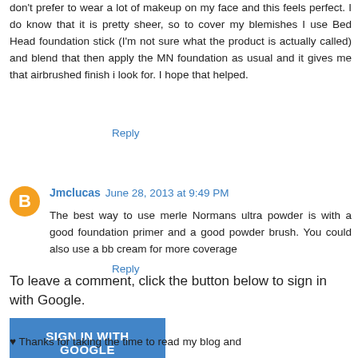don't prefer to wear a lot of makeup on my face and this feels perfect. I do know that it is pretty sheer, so to cover my blemishes I use Bed Head foundation stick (I'm not sure what the product is actually called) and blend that then apply the MN foundation as usual and it gives me that airbrushed finish i look for. I hope that helped.
Reply
Jmclucas  June 28, 2013 at 9:49 PM
The best way to use merle Normans ultra powder is with a good foundation primer and a good powder brush. You could also use a bb cream for more coverage
Reply
To leave a comment, click the button below to sign in with Google.
SIGN IN WITH GOOGLE
♥ Thanks for taking the time to read my blog and